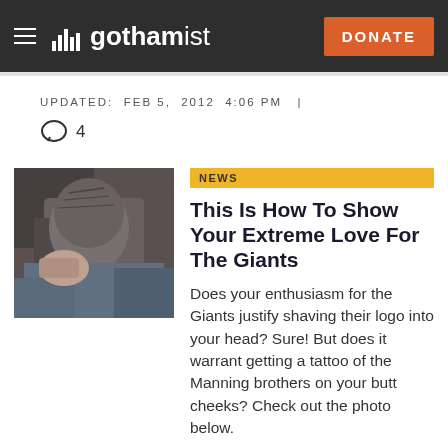gothamist — DONATE
UPDATED: FEB 5, 2012 4:06 PM | 4
[Figure (photo): Photo of a man bending his head forward showing a shaved Giants logo design on the back of his head]
NEWS
This Is How To Show Your Extreme Love For The Giants
Does your enthusiasm for the Giants justify shaving their logo into your head? Sure! But does it warrant getting a tattoo of the Manning brothers on your butt cheeks? Check out the photo below.